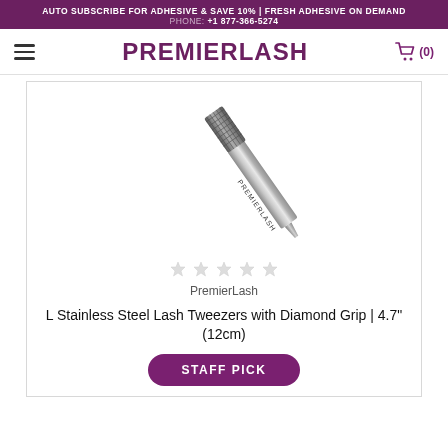AUTO SUBSCRIBE FOR ADHESIVE & SAVE 10% | FRESH ADHESIVE ON DEMAND
PHONE: +1 877-366-5274
PREMIERLASH
[Figure (photo): Photo of L Stainless Steel Lash Tweezers with Diamond Grip, silver metallic tweezers with PREMIERLASH branding, diagonal orientation]
PremierLash
L Stainless Steel Lash Tweezers with Diamond Grip | 4.7" (12cm)
STAFF PICK